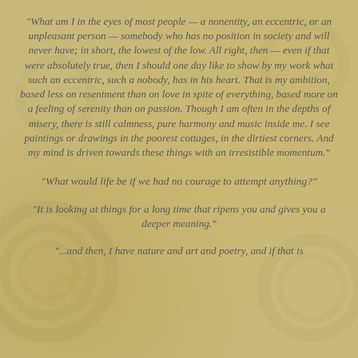“What am I in the eyes of most people — a nonentity, an eccentric, or an unpleasant person — somebody who has no position in society and will never have; in short, the lowest of the low. All right, then — even if that were absolutely true, then I should one day like to show by my work what such an eccentric, such a nobody, has in his heart. That is my ambition, based less on resentment than on love in spite of everything, based more on a feeling of serenity than on passion. Though I am often in the depths of misery, there is still calmness, pure harmony and music inside me. I see paintings or drawings in the poorest cottages, in the dirtiest corners. And my mind is driven towards these things with an irresistible momentum.”
“What would life be if we had no courage to attempt anything?”
“It is looking at things for a long time that ripens you and gives you a deeper meaning.”
“...and then, I have nature and art and poetry, and if that is